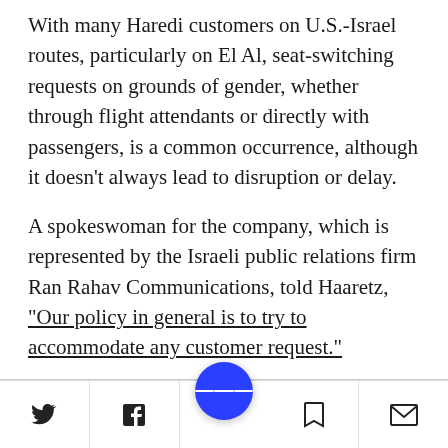With many Haredi customers on U.S.-Israel routes, particularly on El Al, seat-switching requests on grounds of gender, whether through flight attendants or directly with passengers, is a common occurrence, although it doesn't always lead to disruption or delay.
A spokeswoman for the company, which is represented by the Israeli public relations firm Ran Rahav Communications, told Haaretz, “Our policy in general is to try to accommodate any customer request.”
She added that El Al deals with complaints on a
Social share and navigation bar with Twitter, Facebook, menu, bookmark, and email icons